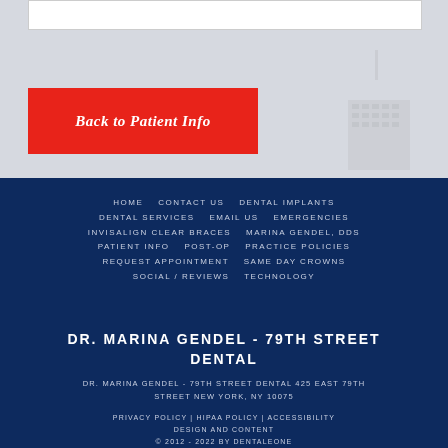[Figure (screenshot): White input bar at top of page on grey background with building silhouette visible]
Back to Patient Info
HOME   CONTACT US   DENTAL IMPLANTS   DENTAL SERVICES   EMAIL US   EMERGENCIES   INVISALIGN CLEAR BRACES   MARINA GENDEL, DDS   PATIENT INFO   POST-OP   PRACTICE POLICIES   REQUEST APPOINTMENT   SAME DAY CROWNS   SOCIAL / REVIEWS   TECHNOLOGY
DR. MARINA GENDEL - 79TH STREET DENTAL
DR. MARINA GENDEL - 79TH STREET DENTAL 425 EAST 79TH STREET NEW YORK, NY 10075
PRIVACY POLICY | HIPAA POLICY | ACCESSIBILITY   DESIGN AND CONTENT   © 2012 - 2022 BY DENTALEONE